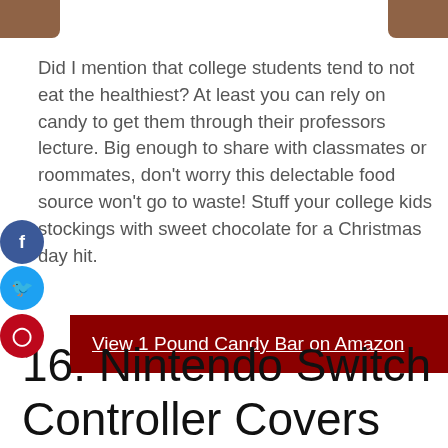[Figure (photo): Partial top image showing brown chocolate bar edges on left and right corners]
Did I mention that college students tend to not eat the healthiest? At least you can rely on candy to get them through their professors lecture. Big enough to share with classmates or roommates, don't worry this delectable food source won't go to waste! Stuff your college kids stockings with sweet chocolate for a Christmas day hit.
View 1 Pound Candy Bar on Amazon
16. Nintendo Switch Controller Covers